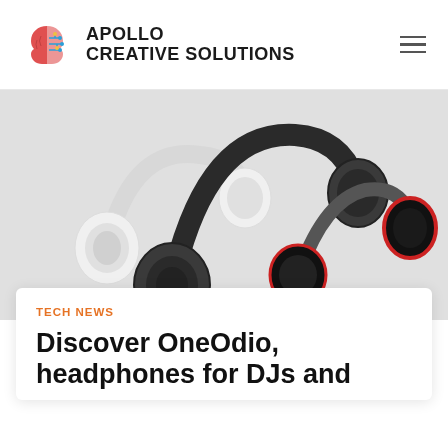APOLLO CREATIVE SOLUTIONS
[Figure (photo): Three over-ear headphones displayed on a light grey background: one white on the left, one large black in the center, and one red/black on the right.]
TECH NEWS
Discover OneOdio, headphones for DJs and